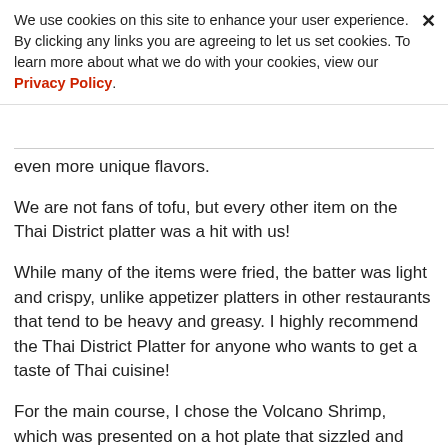We use cookies on this site to enhance your user experience. By clicking any links you are agreeing to let us set cookies. To learn more about what we do with your cookies, view our Privacy Policy.
even more unique flavors.
We are not fans of tofu, but every other item on the Thai District platter was a hit with us!
While many of the items were fried, the batter was light and crispy, unlike appetizer platters in other restaurants that tend to be heavy and greasy. I highly recommend the Thai District Platter for anyone who wants to get a taste of Thai cuisine!
For the main course, I chose the Volcano Shrimp, which was presented on a hot plate that sizzled and popped (a small eruption, hence the name) as the special sauce was poured over the top. My husband opted for the salmon and shrimp special in a green curry sauce.